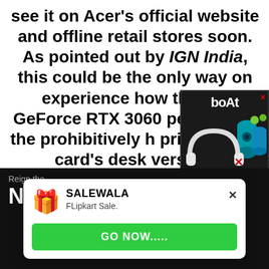see it on Acer's official website and offline retail stores soon. As pointed out by IGN India, this could be the only way on experience how the Nvidia GeForce RTX 3060 performs given the prohibitively high prices of the card's desktop version.
[Figure (illustration): boAt audio products advertisement showing headphones, speakers and earbuds with text 'Get Grooving with boAt Signature Sound' and 'Shop Now' button]
Acer Nitro 5 specificatio
[Figure (screenshot): Dark background screenshot showing 'Reign the Nitro' text with Acer Nitro 5 laptop image]
[Figure (other): SALEWALA popup notification with emoji icon, text 'FLipkart Sale.' and 'GO NOW.....' green button with X close button]